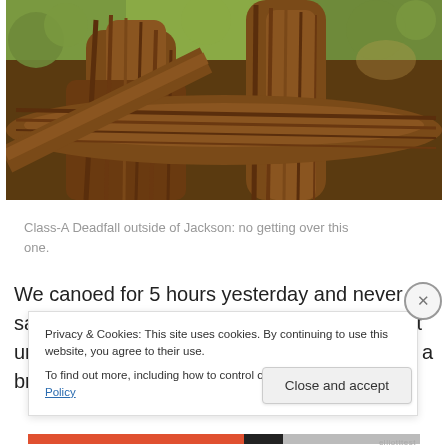[Figure (photo): Close-up photograph of large twisted tree roots and bark, with green foliage visible in the background. The roots form a large deadfall obstacle.]
Class-A Deadfall outside of Jackson: no getting over this one.
We canoed for 5 hours yesterday and never saw another soul out on the water, at least not until we woke a homeless guy sleeping under a bridge as we approached
Privacy & Cookies: This site uses cookies. By continuing to use this website, you agree to their use.
To find out more, including how to control cookies, see here: Cookie Policy
Close and accept